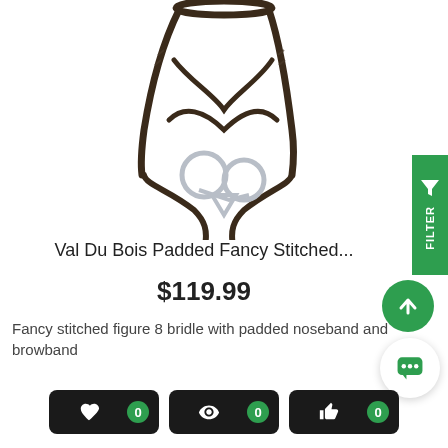[Figure (photo): Horse bridle with figure 8 noseband and metal rings hanging against white background]
Val Du Bois Padded Fancy Stitched...
$119.99
Fancy stitched figure 8 bridle with padded noseband and browband